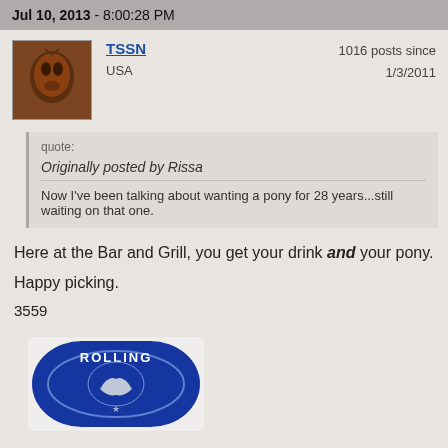Jul 10, 2013 - 8:00:28 PM
TSSN
USA
1016 posts since 1/3/2011
quote:
Originally posted by Rissa
Now I've been talking about wanting a pony for 28 years...still waiting on that one.
Here at the Bar and Grill, you get your drink and your pony.

Happy picking.

3559
[Figure (photo): Photo of a Rolling Rock beer bottle cap with blue label showing a horse and the text ROLLING]